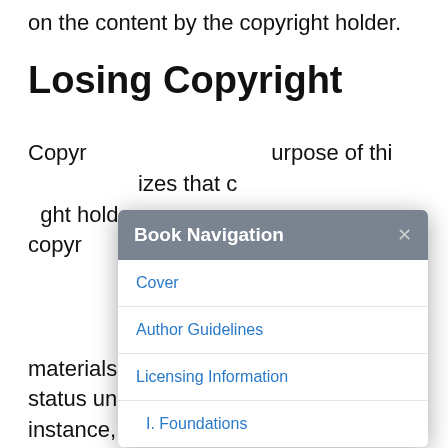on the content by the copyright holder.
Losing Copyright
Copyright... purpose of this... izes that c... ight holde... copyr... copyr... 70 years after t... ion, copyr... c domain. Copyrighted materials may also lose their copyright status under other conditions. For instance, a copyright holder may relinquish the copyright status on their work, thereby allowing it
[Figure (screenshot): A modal dialog titled 'Book Navigation' with a close button (×), containing navigation links: Cover, Author Guidelines, Licensing Information, I. Foundations]